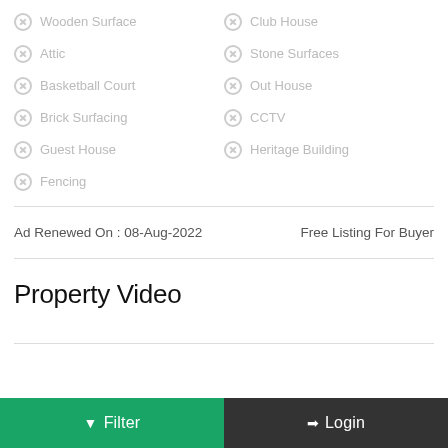Wooden Surface
Club House
Attic
Stone Surfaces
Basketball Court
Out House
Brick Surfacing
CCTV
Guest House
Heritage Building
Fencing
Ad Renewed On : 08-Aug-2022
Free Listing For Buyer
Property Video
Filter | Login